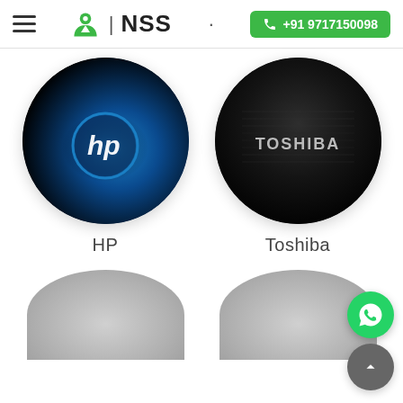NSS | +91 9717150098
[Figure (logo): HP laptop brand logo — circular dark background with glowing blue HP logo in center, labeled 'HP' below]
[Figure (logo): Toshiba brand logo — circular brushed dark metal background with TOSHIBA text, labeled 'Toshiba' below]
[Figure (illustration): Partially visible brand circles in the bottom row (cropped by page boundary), with WhatsApp and scroll-to-top floating action buttons on the right]